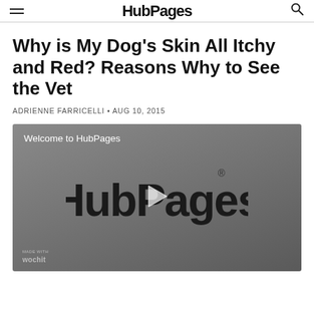HubPages
Why is My Dog's Skin All Itchy and Red? Reasons Why to See the Vet
ADRIENNE FARRICELLI • AUG 10, 2015
[Figure (screenshot): Video player showing 'Welcome to HubPages' with HubPages logo and play button on gray background, wochit watermark at bottom left]